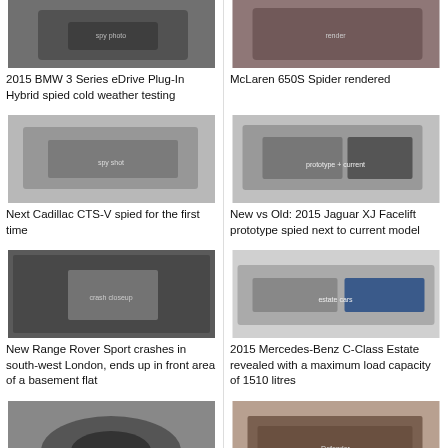[Figure (photo): BMW 3 Series eDrive spy photo – camouflaged car in cold weather]
2015 BMW 3 Series eDrive Plug-In Hybrid spied cold weather testing
[Figure (photo): McLaren 650S Spider render image]
McLaren 650S Spider rendered
[Figure (photo): Cadillac CTS-V spy shot – camouflaged car on road]
Next Cadillac CTS-V spied for the first time
[Figure (photo): 2015 Jaguar XJ Facelift prototype next to current model on snowy road]
New vs Old: 2015 Jaguar XJ Facelift prototype spied next to current model
[Figure (photo): Crashed Range Rover Sport – closeup of damaged area]
New Range Rover Sport crashes in south-west London, ends up in front area of a basement flat
[Figure (photo): 2015 Mercedes-Benz C-Class Estate – two cars on open ground]
2015 Mercedes-Benz C-Class Estate revealed with a maximum load capacity of 1510 litres
[Figure (photo): Audi interior – steering wheel and dashboard]
What is the real cost of
[Figure (photo): Land Rover Defender – dark brown off-road vehicle at event]
Land Rover Defender